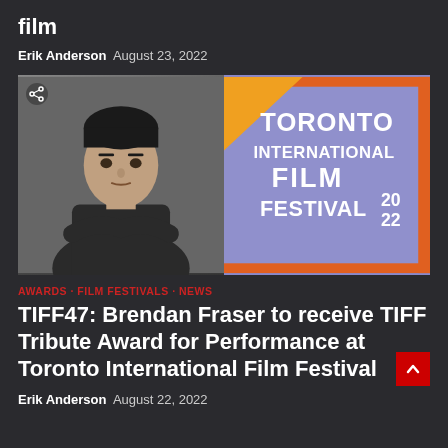film
Erik Anderson  August 23, 2022
[Figure (photo): Left: Photo of Brendan Fraser, a man in a dark t-shirt with arms crossed, looking intensely at camera against a grey background. Right: Toronto International Film Festival 2022 signage with purple/blue background, orange border, yellow triangle, and white bold text reading TORONTO INTERNATIONAL FILM FESTIVAL 20 22.]
AWARDS · FILM FESTIVALS · NEWS
TIFF47: Brendan Fraser to receive TIFF Tribute Award for Performance at Toronto International Film Festival
Erik Anderson  August 22, 2022